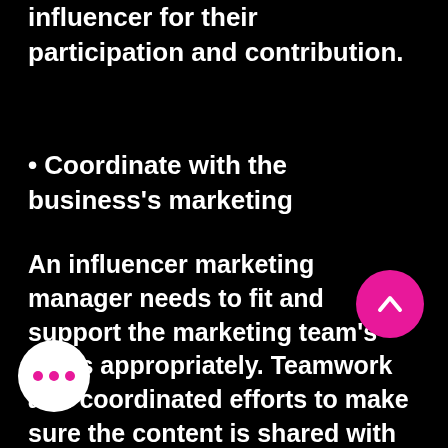influencer for their participation and contribution.
• Coordinate with the business's marketing
An influencer marketing manager needs to fit and support the marketing team's goals appropriately. Teamwork and coordinated efforts to make sure the content is shared with the social media manager and links are tracked to differentiate the efforts of the team from the rest of the marketing efforts.
Influencer marketing can aptly lend a hand in the other efforts of the rest of the marketing team. An efficient influencer marketing manager will